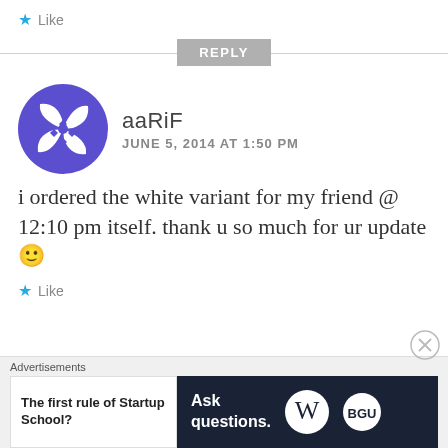★ Like
REPLY
[Figure (logo): Purple pinwheel/ninja star avatar for user aaRiF]
aaRiF
JUNE 5, 2014 AT 1:50 PM
i ordered the white variant for my friend @ 12:10 pm itself. thank u so much for ur update 🙂
★ Like
Advertisements
The first rule of Startup School?
Ask questions.